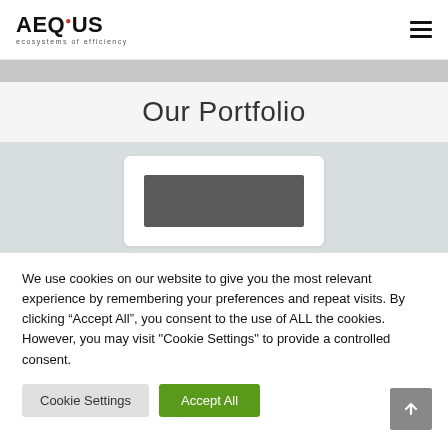AEQUS ecosystems of efficiency
Our Portfolio
[Figure (screenshot): Partial screenshot of AEQUS portfolio card with dark gray image placeholder]
We use cookies on our website to give you the most relevant experience by remembering your preferences and repeat visits. By clicking “Accept All”, you consent to the use of ALL the cookies. However, you may visit "Cookie Settings" to provide a controlled consent.
Cookie Settings
Accept All